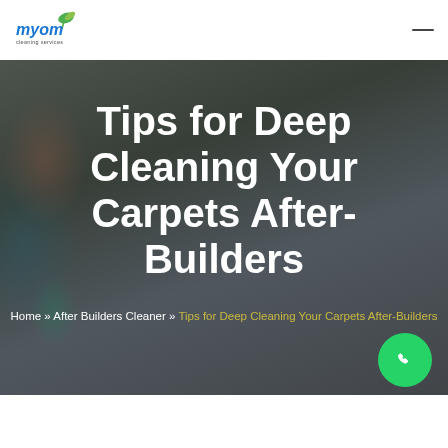[Figure (logo): Myom cleaning services logo with green leaf and blue text]
Tips for Deep Cleaning Your Carpets After-Builders
Home » After Builders Cleaner » Tips for Deep Cleaning Your Carpets After-Builders
[Figure (illustration): WhatsApp contact button (green circle with phone icon)]